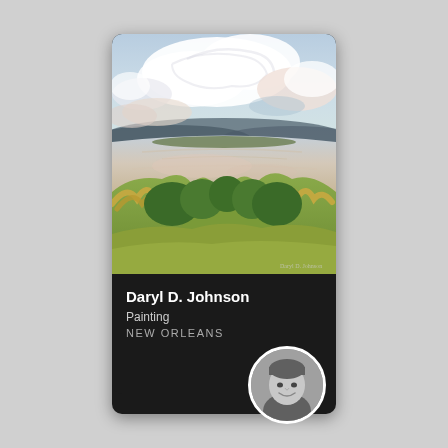[Figure (illustration): Oil painting of a Louisiana bayou/wetland landscape: dramatic swirling white and blue clouds in a wide sky, a calm reflective water body in the middle distance with dark hills on the horizon, and lush green and golden marsh grasses in the foreground. Artist signature visible bottom-right.]
Daryl D. Johnson
Painting
NEW ORLEANS
[Figure (photo): Circular black-and-white portrait photo of the artist Daryl D. Johnson, a person with short hair, smiling, shown from shoulders up.]